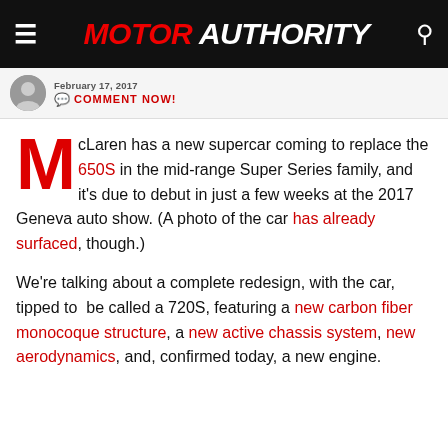MOTOR AUTHORITY
COMMENT NOW!
McLaren has a new supercar coming to replace the 650S in the mid-range Super Series family, and it's due to debut in just a few weeks at the 2017 Geneva auto show. (A photo of the car has already surfaced, though.)
We're talking about a complete redesign, with the car, tipped to be called a 720S, featuring a new carbon fiber monocoque structure, a new active chassis system, new aerodynamics, and, confirmed today, a new engine.